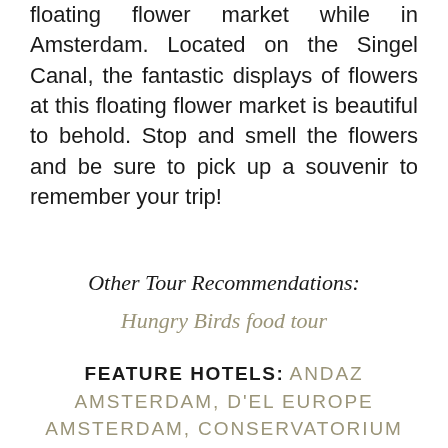floating flower market while in Amsterdam. Located on the Singel Canal, the fantastic displays of flowers at this floating flower market is beautiful to behold. Stop and smell the flowers and be sure to pick up a souvenir to remember your trip!
Other Tour Recommendations:
Hungry Birds food tour
FEATURE HOTELS: ANDAZ AMSTERDAM, D'EL EUROPE AMSTERDAM, CONSERVATORIUM HOTEL